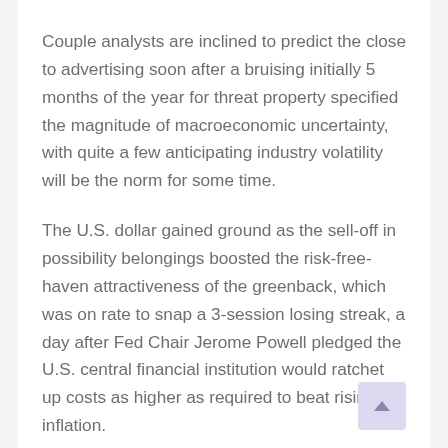Couple analysts are inclined to predict the close to advertising soon after a bruising initially 5 months of the year for threat property specified the magnitude of macroeconomic uncertainty, with quite a few anticipating industry volatility will be the norm for some time.
The U.S. dollar gained ground as the sell-off in possibility belongings boosted the risk-free-haven attractiveness of the greenback, which was on rate to snap a 3-session losing streak, a day after Fed Chair Jerome Powell pledged the U.S. central financial institution would ratchet up costs as higher as required to beat rising inflation.